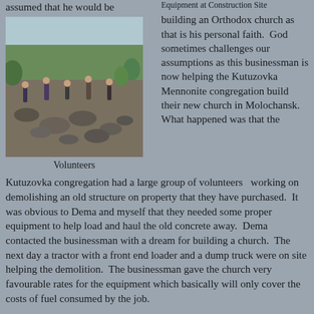assumed that he would be
Equipment at Construction Site
[Figure (photo): Volunteers working on demolishing an old structure at a construction site, outdoors among rocks and greenery.]
Volunteers
building an Orthodox church as that is his personal faith.  God sometimes challenges our assumptions as this businessman is now helping the Kutuzovka Mennonite congregation build their new church in Molochansk.  What happened was that the Kutuzovka congregation had a large group of volunteers   working on demolishing an old structure on property that they have purchased.  It was obvious to Dema and myself that they needed some proper equipment to help load and haul the old concrete away.  Dema contacted the businessman with a dream for building a church.  The next day a tractor with a front end loader and a dump truck were on site helping the demolition.  The businessman gave the church very favourable rates for the equipment which basically will only cover the costs of fuel consumed by the job.
It has been beautiful to watch the volunteers work on the site preparation for the new church.  The volunteers have consisted of